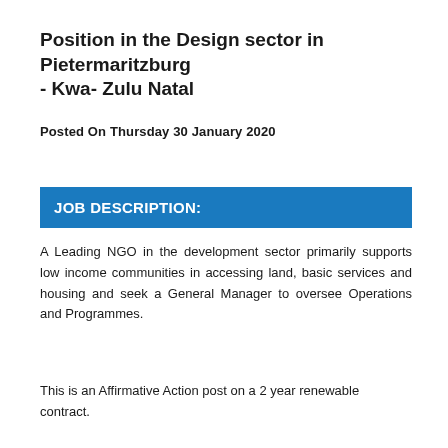Position in the Design sector in Pietermaritzburg - Kwa- Zulu Natal
Posted On Thursday 30 January 2020
JOB DESCRIPTION:
A Leading NGO in the development sector primarily supports low income communities in accessing land, basic services and housing and seek a General Manager to oversee Operations and Programmes.
This is an Affirmative Action post on a 2 year renewable contract.
Main job function